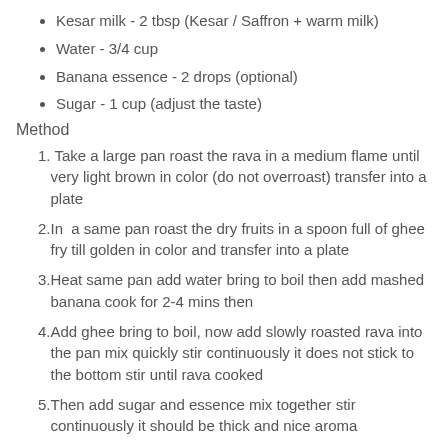Kesar milk - 2 tbsp (Kesar / Saffron + warm milk)
Water - 3/4 cup
Banana essence - 2 drops (optional)
Sugar - 1 cup (adjust the taste)
Method
1. Take a large pan roast the rava in a medium flame until very light brown in color (do not overroast) transfer into a plate
2. In  a same pan roast the dry fruits in a spoon full of ghee fry till golden in color and transfer into a plate
3. Heat same pan add water bring to boil then add mashed banana cook for 2-4 mins then
4. Add ghee bring to boil, now add slowly roasted rava into the pan mix quickly stir continuously it does not stick to the bottom stir until rava cooked
5. Then add sugar and essence mix together stir continuously it should be thick and nice aroma
6. Then add kesar milk and dry fruits mix well
7. (partially visible)